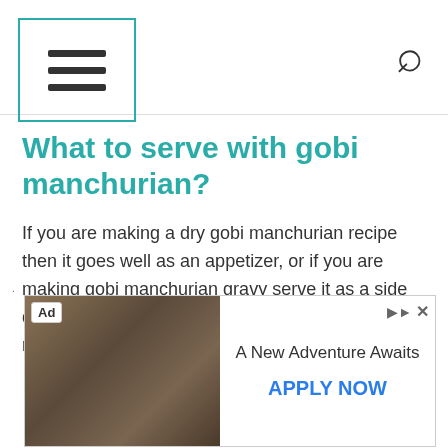☰ [menu icon] [search icon]
What to serve with gobi manchurian?
If you are making a dry gobi manchurian recipe then it goes well as an appetizer, or if you are making gobi manchurian gravy serve it as a side dish with the main course of fried rice and noodles.
[Figure (other): Advertisement banner: image of two people in western/cowboy attire on the left, with text 'A New Adventure Awaits' and 'APPLY NOW' on the right side. Ad label visible in top-left corner.]